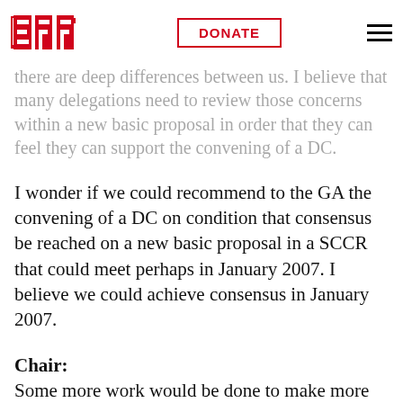EFF | DONATE
We consider the convening of a DC in 2007 of the utmost importance. It has become apparent that there are deep differences between us. I believe that many delegations need to review those concerns within a new basic proposal in order that they can feel they can support the convening of a DC.
I wonder if we could recommend to the GA the convening of a DC on condition that consensus be reached on a new basic proposal in a SCCR that could meet perhaps in January 2007. I believe we could achieve consensus in January 2007.
Chair:
Some more work would be done to make more acceptable on basis of work done here. Now we have revived this two step process for your consideration and look at ways to make it better.